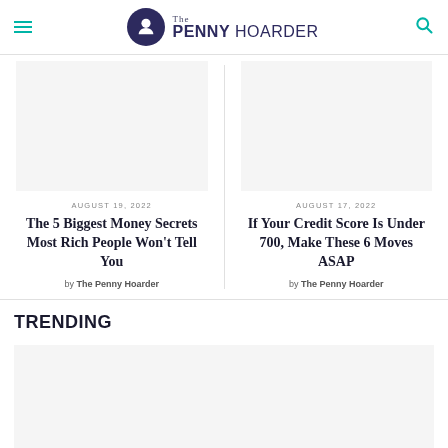The Penny Hoarder
[Figure (photo): Article thumbnail image placeholder for 'The 5 Biggest Money Secrets Most Rich People Won't Tell You']
AUGUST 19, 2022
The 5 Biggest Money Secrets Most Rich People Won't Tell You
by The Penny Hoarder
[Figure (photo): Article thumbnail image placeholder for 'If Your Credit Score Is Under 700, Make These 6 Moves ASAP']
AUGUST 17, 2022
If Your Credit Score Is Under 700, Make These 6 Moves ASAP
by The Penny Hoarder
TRENDING
[Figure (photo): Trending article thumbnail image placeholder]